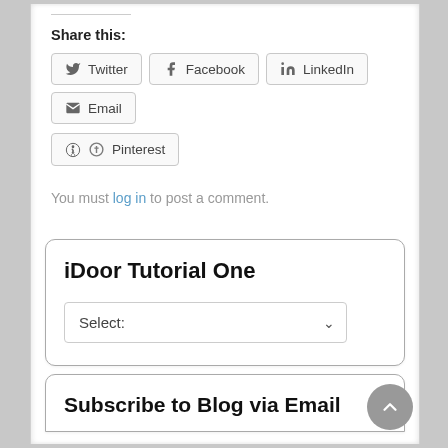Share this:
Twitter
Facebook
LinkedIn
Email
Pinterest
You must log in to post a comment.
iDoor Tutorial One
Select:
Subscribe to Blog via Email